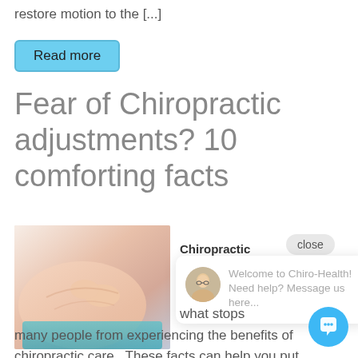restore motion to the [...]
Read more
Fear of Chiropractic adjustments? 10 comforting facts
[Figure (photo): A chiropractic adjustment being performed on a patient's back]
Chiropractic
close
Welcome to Chiro-Health! Need help? Message us here...
what stops many people from experiencing the benefits of chiropractic care.  These facts can help you put your fears of